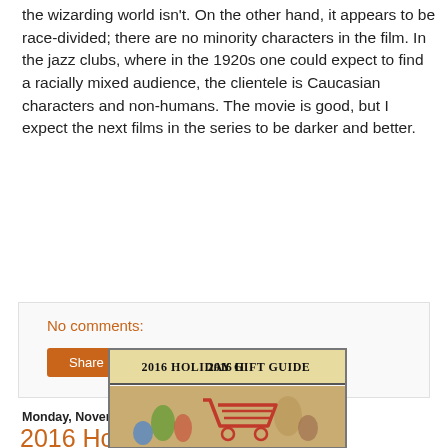the wizarding world isn't. On the other hand, it appears to be race-divided; there are no minority characters in the film. In the jazz clubs, where in the 1920s one could expect to find a racially mixed audience, the clientele is Caucasian characters and non-humans. The movie is good, but I expect the next films in the series to be darker and better.
No comments:
Share
Monday, November 07, 2016
2016 Holiday Gift Guide
[Figure (photo): 2016 Holiday Gift Guide image showing a red shopping cart icon on a warm golden/tan background with colorful small figurines or game pieces]